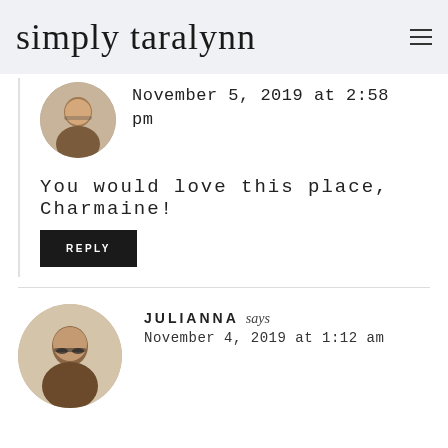simply taralynn
[Figure (photo): Circular avatar photo of a woman with brown hair and a plaid shirt]
November 5, 2019 at 2:58 pm
You would love this place, Charmaine!
REPLY
[Figure (photo): Circular avatar photo of Julianna, a woman with glasses and long brown hair]
JULIANNA says
November 4, 2019 at 1:12 am